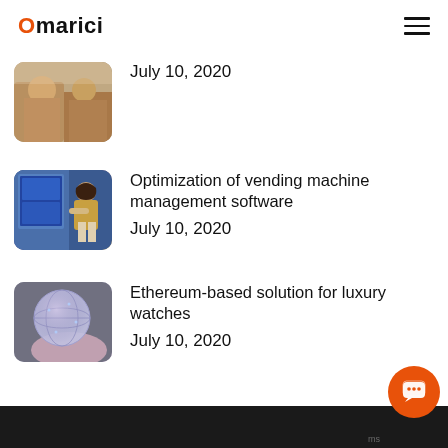Omarici
[Figure (photo): Thumbnail of two people, partially visible, cropped at top of page]
July 10, 2020
[Figure (photo): Woman touching a vending machine screen]
Optimization of vending machine management software
July 10, 2020
[Figure (photo): Ethereum globe held in hand, glowing digital sphere]
Ethereum-based solution for luxury watches
July 10, 2020